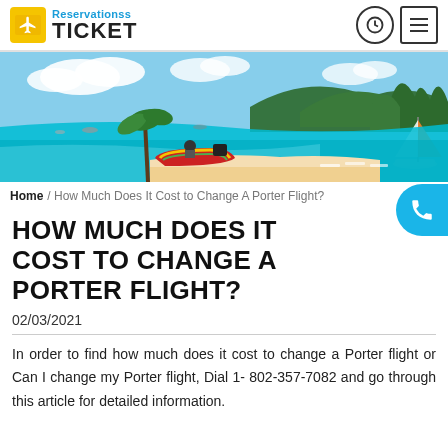Reservationss TICKET
[Figure (photo): Tropical beach scene with turquoise water, colorful boat, sandy beach, palm trees, and sailboats]
Home / How Much Does It Cost to Change A Porter Flight?
HOW MUCH DOES IT COST TO CHANGE A PORTER FLIGHT?
02/03/2021
In order to find how much does it cost to change a Porter flight or Can I change my Porter flight, Dial 1- 802-357-7082 and go through this article for detailed information.